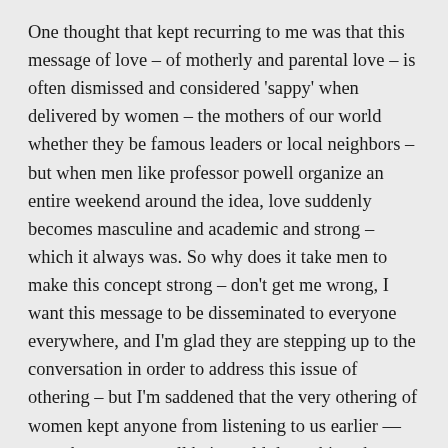One thought that kept recurring to me was that this message of love – of motherly and parental love – is often dismissed and considered 'sappy' when delivered by women – the mothers of our world whether they be famous leaders or local neighbors – but when men like professor powell organize an entire weekend around the idea, love suddenly becomes masculine and academic and strong – which it always was. So why does it take men to make this concept strong – don't get me wrong, I want this message to be disseminated to everyone everywhere, and I'm glad they are stepping up to the conversation in order to address this issue of othering – but I'm saddened that the very othering of women kept anyone from listening to us earlier — say when we were all being told these things by our own mothers...